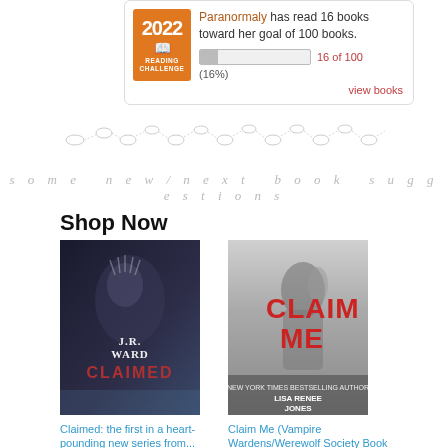[Figure (infographic): 2022 Reading Challenge badge showing orange badge with year 2022, book icon, and 'Reading Challenge' text. Next to it: 'Paranormaly has read 16 books toward her goal of 100 books.' with progress bar showing 16 of 100 (16%) and 'view books' link.]
[Figure (illustration): Decorative divider made of small oval/ellipse shapes connected by dotted lines, gray color, spanning the width.]
some new/next book suggestions
Shop Now
[Figure (photo): Book cover of 'Claimed' by J.R. Ward - dark cover with ghostly hand and face imagery.]
Claimed: the first in a heart-pounding new series from...
$16.19 ✓prime
[Figure (photo): Book cover of 'Claim Me (Vampire Wardens/Werewolf Society Book 4)' by Lisa Renee Jones - black and white photo of woman with red title text.]
Claim Me (Vampire Wardens/Werewolf Society Book 4)